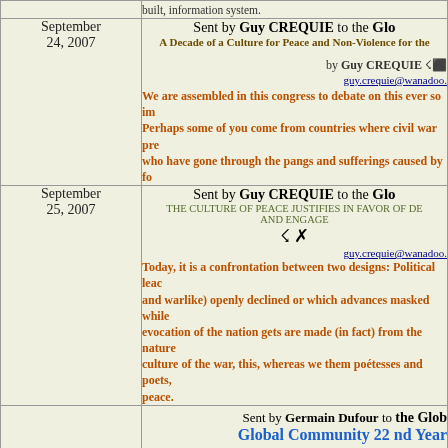| Date | Content |
| --- | --- |
|  | built, information system. |
| September 24, 2007 | Sent by Guy CREQUIE to the Glo...
A Decade of a Culture for Peace and Non-Violence for the...
by Guy CREQUIE
guy.crequie@wanadoo...
We are assembled in this congress to debate on this ever so im...
Perhaps some of you come from countries where civil war pre...
who have gone through the pangs and sufferings caused by fo... |
| September 25, 2007 | Sent by Guy CREQUIE to the Glo...
THE CULTURE OF PEACE JUSTIFIES IN FAVOR OF DE...
AND ENGAGE
guy.crequie@wanadoo...
Today, it is a confrontation between two designs: Political leac...
and warlike) openly declined or which advances masked while...
evocation of the nation gets are made (in fact) from the nature...
culture of the war, this, whereas we them poétesses and poets,
peace. |
| September 26, | Sent by Germain Dufour to the Glob...
Global Community 22 nd Year...
Twenty two years ago the Global Community organization was cr...
amazing accomplishments of the Global Community. Back in 198...
first 'soft activism'. It was such a memorable day for me as I actua...
all life on Earth, and the protection of the global life support... |